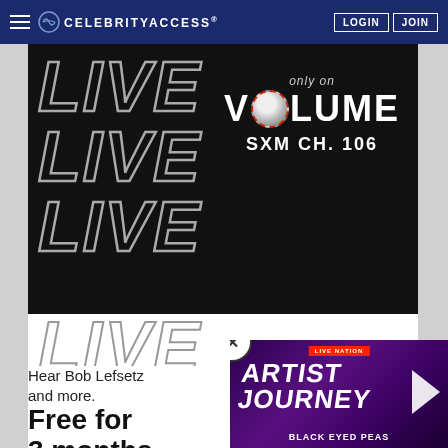CELEBRITYACCESS® | LOGIN | JOIN
[Figure (advertisement): SiriusXM Live on Volume SXM Ch. 106 advertisement with stacked LIVE text in outline style, half black background half white background]
Hear Bob Lefsetz and more.
Free for 3 months
With new subscription.
[Figure (advertisement): Live Nation Artist Journey - Black Eyed Peas ad overlay with purple gradient background]